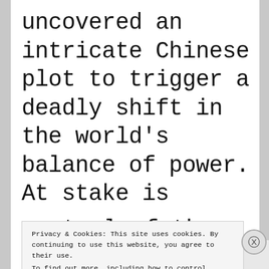uncovered an intricate Chinese plot to trigger a deadly shift in the world's balance of power. At stake is control of the canal
Privacy & Cookies: This site uses cookies. By continuing to use this website, you agree to their use.
To find out more, including how to control cookies, see here: Cookie Policy
Close and accept